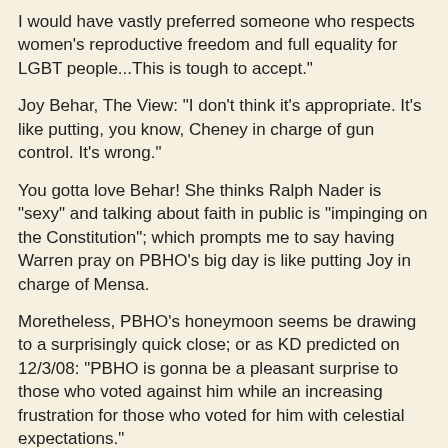I would have vastly preferred someone who respects women's reproductive freedom and full equality for LGBT people...This is tough to accept."
Joy Behar, The View: "I don't think it's appropriate. It's like putting, you know, Cheney in charge of gun control. It's wrong."
You gotta love Behar! She thinks Ralph Nader is "sexy" and talking about faith in public is "impinging on the Constitution"; which prompts me to say having Warren pray on PBHO's big day is like putting Joy in charge of Mensa.
Moretheless, PBHO's honeymoon seems be drawing to a surprisingly quick close; or as KD predicted on 12/3/08: "PBHO is gonna be a pleasant surprise to those who voted against him while an increasing frustration for those who voted for him with celestial expectations."
People who voted against him don't expect much while those who voted for him expect too much.